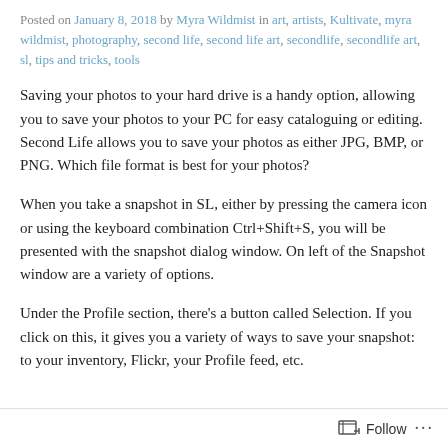Posted on January 8, 2018 by Myra Wildmist in art, artists, Kultivate, myra wildmist, photography, second life, second life art, secondlife, secondlife art, sl, tips and tricks, tools
Saving your photos to your hard drive is a handy option, allowing you to save your photos to your PC for easy cataloguing or editing. Second Life allows you to save your photos as either JPG, BMP, or PNG. Which file format is best for your photos?
When you take a snapshot in SL, either by pressing the camera icon or using the keyboard combination Ctrl+Shift+S, you will be presented with the snapshot dialog window. On left of the Snapshot window are a variety of options.
Under the Profile section, there's a button called Selection. If you click on this, it gives you a variety of ways to save your snapshot: to your inventory, Flickr, your Profile feed, etc.
Follow ...